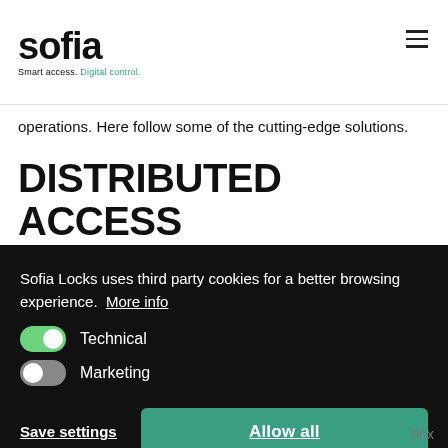sofia — Smart access. Digital control.
operations. Here follow some of the cutting-edge solutions.
DISTRIBUTED ACCESS CONTROL SYSTEM
Sofia Locks uses third party cookies for a better browsing experience.  More info
Technical
Marketing
Save settings
Allow all